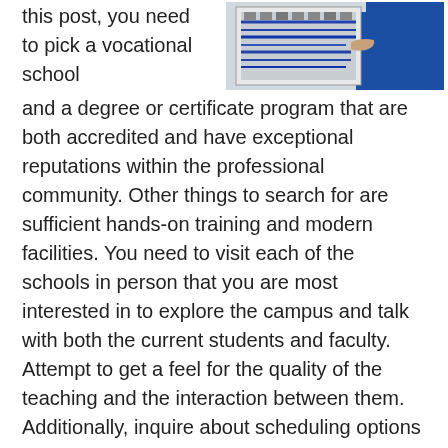[Figure (photo): Photo of a person in blue jacket working on an electrical panel or network wiring cabinet]
this post, you need to pick a vocational school and a degree or certificate program that are both accredited and have exceptional reputations within the professional community. Other things to search for are sufficient hands-on training and modern facilities. You need to visit each of the schools in person that you are most interested in to explore the campus and talk with both the current students and faculty. Attempt to get a feel for the quality of the teaching and the interaction between them. Additionally, inquire about scheduling options and if evening or weekend classes are available if needed. And remember to ask about financial assistance and student loan options also. You initially came to this website because of your interest in Vocational School Options and wanting more information on the topic Vocational Training Near Me. However, if you ask the proper questions as we have laid out in our guidelines for evaluating schools, you'll be able to filter your choices so that